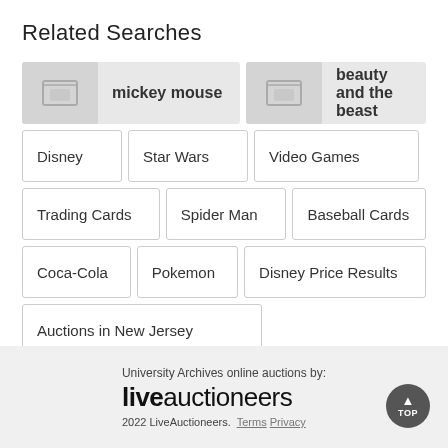Related Searches
mickey mouse
beauty and the beast
Disney
Star Wars
Video Games
Trading Cards
Spider Man
Baseball Cards
Coca-Cola
Pokemon
Disney Price Results
Auctions in New Jersey
University Archives online auctions by: liveauctioneers 2022 LiveAuctioneers. Terms Privacy